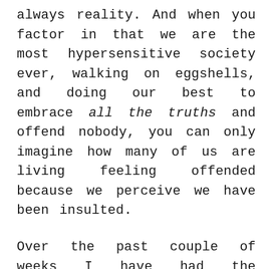always reality. And when you factor in that we are the most hypersensitive society ever, walking on eggshells, and doing our best to embrace all the truths and offend nobody, you can only imagine how many of us are living feeling offended because we perceive we have been insulted.

Over the past couple of weeks I have had the privilege of speaking to women about radical discipleship—digging into the truth of our chosenness and the unique mission